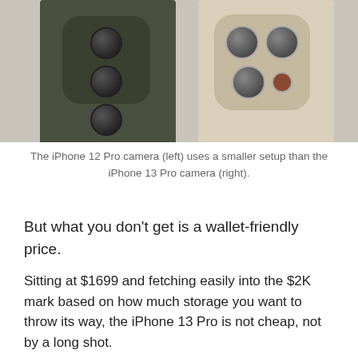[Figure (photo): Two iPhones side by side showing their rear camera systems. Left phone is dark green (iPhone 12 Pro) with smaller camera bump, right phone is gold/champagne (iPhone 13 Pro) with larger camera bump.]
The iPhone 12 Pro camera (left) uses a smaller setup than the iPhone 13 Pro camera (right).
But what you don’t get is a wallet-friendly price.
Sitting at $1699 and fetching easily into the $2K mark based on how much storage you want to throw its way, the iPhone 13 Pro is not cheap, not by a long shot.
Sure, it’s not as expensive as the innovative foldable technologies making their way out, but it’s also not inexpensive, because let’s be honest, while 128GB is a great starting place for a high-end phone, a model costing this much should include 256GB, as it would